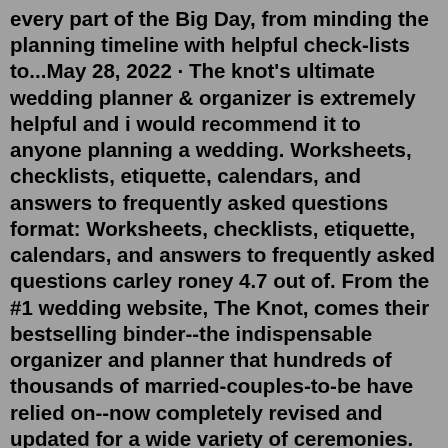every part of the Big Day, from minding the planning timeline with helpful check-lists to...May 28, 2022 · The knot's ultimate wedding planner & organizer is extremely helpful and i would recommend it to anyone planning a wedding. Worksheets, checklists, etiquette, calendars, and answers to frequently asked questions format: Worksheets, checklists, etiquette, calendars, and answers to frequently asked questions carley roney 4.7 out of. From the #1 wedding website, The Knot, comes their bestselling binder--the indispensable organizer and planner that hundreds of thousands of married-couples-to-be have relied on--now completely revised and updated for a wide variety of ceremonies. Section 1: Timeline & budget: Finding your style -- Your planning timeline -- Your wedding budget -- Section 2: Guest list, invitations & wedding party: Your guest list -- Invitations -- Your wedding party -- Gift registry -- The other parties -- Section 3 2020-07-27 13:04:31. Associated-names. Knot (Firm).The Knot Ultimate Wedding Planner & Organizer [binder edition]: (The Knot...